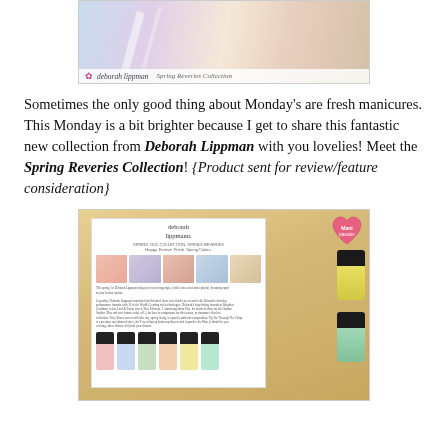[Figure (photo): Deborah Lippman Spring Reveries Collection promotional image showing pastel-colored clothing/fabrics with brand logo overlay]
Sometimes the only good thing about Monday's are fresh manicures. This Monday is a bit brighter because I get to share this fantastic new collection from Deborah Lippman with you lovelies! Meet the Spring Reveries Collection! {Product sent for review/feature consideration}
[Figure (photo): Deborah Lippman Spring Reveries Collection press sheet with nail polish bottles in pastel colors (pink, blue, green, peach, yellow, mint) arranged in a row, with two additional bottles visible on the right side on a golden fabric background, and a heart-shaped sticker in corner]